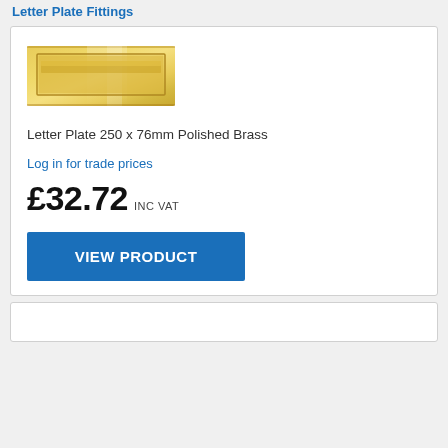Letter Plate Fittings
[Figure (photo): Polished brass letter plate, rectangular, with a recessed inner plate and reflective surface]
Letter Plate 250 x 76mm Polished Brass
Log in for trade prices
£32.72 INC VAT
VIEW PRODUCT